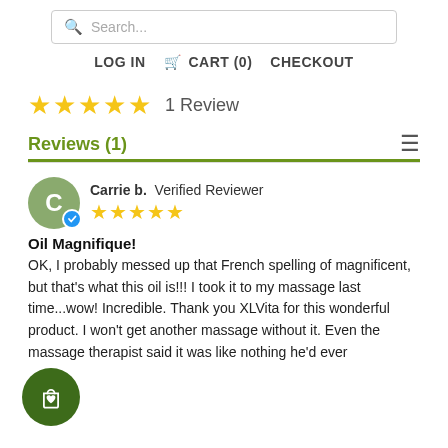Search... | LOG IN | CART (0) | CHECKOUT
★★★★★  1 Review
Reviews (1)
Carrie b.  Verified Reviewer
★★★★★
Oil Magnifique!
OK, I probably messed up that French spelling of magnificent, but that's what this oil is!!! I took it to my massage last time...wow! Incredible. Thank you XLVita for this wonderful product. I won't get another massage without it. Even the massage therapist said it was like nothing he'd ever